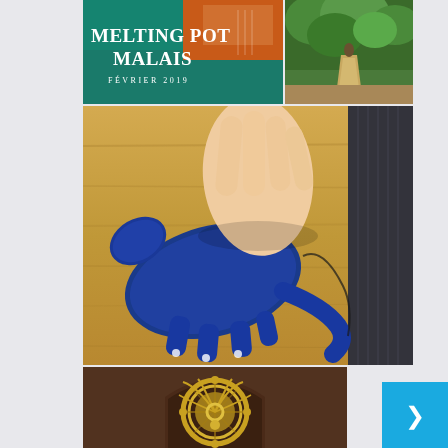[Figure (photo): Travel blog collage page showing Malaysia photos. Top left: teal/green signage with bold white text 'MELTING POT MALAIS' and subtitle 'FÉVRIER 2019'. Top right: lush green jungle/garden path photo. Middle: close-up photo of hands working on blue knitted animal figure on wooden surface. Bottom: decorative circular ornamental door knocker/detail in gold on dark background.]
[Figure (photo): Blue navigation/scroll button with arrow symbol, cyan/sky blue background, bottom right corner.]